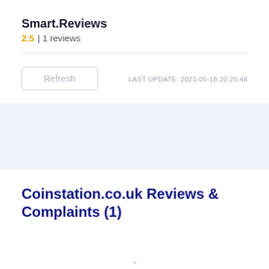Smart.Reviews
2.5 | 1 reviews
Refresh
LAST UPDATE: 2021-05-18 20:25:48
Coinstation.co.uk Reviews & Complaints (1)